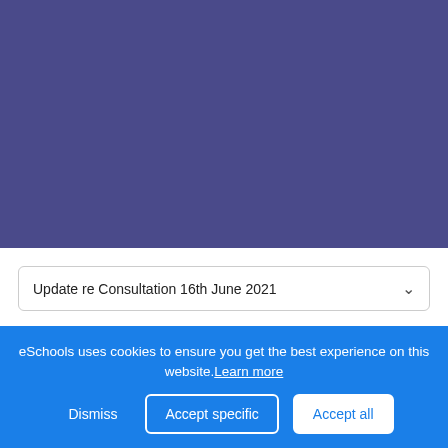[Figure (other): Purple/indigo banner image area at the top of the page]
Update re Consultation 16th June 2021
Update re Consultation 16th June 2021
eSchools uses cookies to ensure you get the best experience on this website. Learn more
Dismiss  Accept specific  Accept all